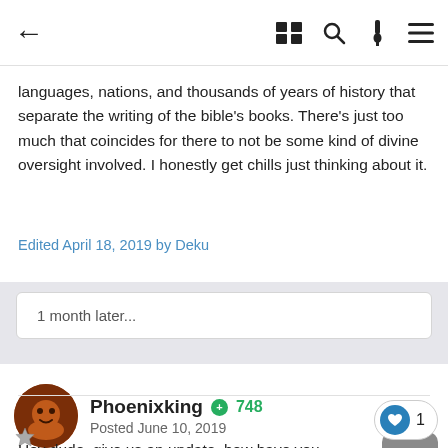← (back) (dark mode) (reading mode) (search) (paint) (menu)
aligns perfectly with the gospels and Revelations, despite the languages, nations, and thousands of years of history that separate the writing of the bible's books. There's just too much that coincides for there to not be some kind of divine oversight involved. I honestly get chills just thinking about it.
Edited April 18, 2019 by Deku
1 month later...
Phoenixking  +748
Posted June 10, 2019
Hey dude, give us an update, how have you been? ?